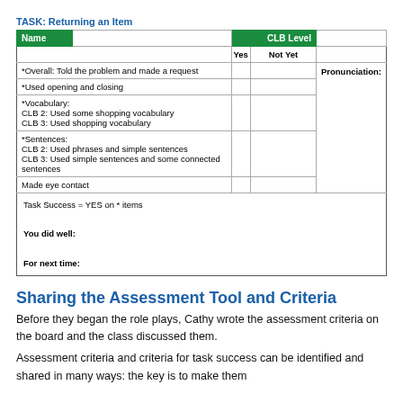TASK: Returning an Item
| Name |  | CLB Level |  | Yes | Not Yet |  |
| --- | --- | --- | --- | --- | --- | --- |
| *Overall: Told the problem and made a request |  |  | Pronunciation: |
| *Used opening and closing |  |  |  |
| *Vocabulary:
CLB 2: Used some shopping vocabulary
CLB 3: Used shopping vocabulary |  |  |  |
| *Sentences:
CLB 2: Used phrases and simple sentences
CLB 3: Used simple sentences and some connected sentences |  |  |  |
| Made eye contact |  |  |  |
| Task Success = YES on * items

You did well:

For next time: |  |  |  |
Sharing the Assessment Tool and Criteria
Before they began the role plays, Cathy wrote the assessment criteria on the board and the class discussed them.
Assessment criteria and criteria for task success can be identified and shared in many ways: the key is to make them